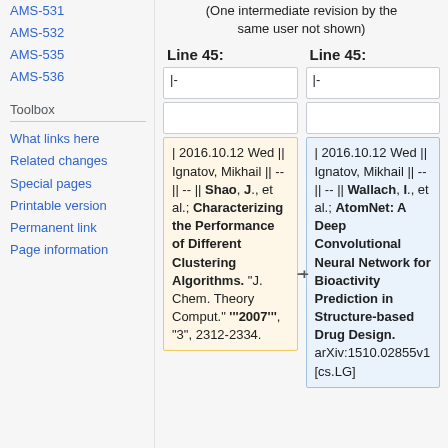AMS-531
AMS-532
AMS-535
AMS-536
Toolbox
What links here
Related changes
Special pages
Printable version
Permanent link
Page information
(One intermediate revision by the same user not shown)
Line 45: (left) | Line 45: (right)
|- (left cell 1) | empty (left cell 2)
| 2016.10.12 Wed || Ignatov, Mikhail || -- || -- || Shao, J., et al.; Characterizing the Performance of Different Clustering Algorithms. "J. Chem. Theory Comput." '''2007''', "3", 2312-2334.
| 2016.10.12 Wed || Ignatov, Mikhail || -- || -- || Wallach, I., et al.; AtomNet: A Deep Convolutional Neural Network for Bioactivity Prediction in Structure-based Drug Design. arXiv:1510.02855v1 [cs.LG]